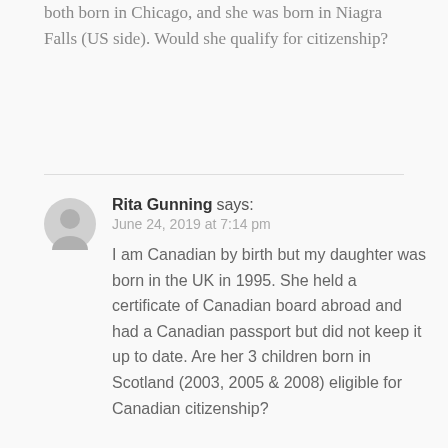both born in Chicago, and she was born in Niagra Falls (US side). Would she qualify for citizenship?
Rita Gunning says: June 24, 2019 at 7:14 pm — I am Canadian by birth but my daughter was born in the UK in 1995. She held a certificate of Canadian board abroad and had a Canadian passport but did not keep it up to date. Are her 3 children born in Scotland (2003, 2005 & 2008) eligible for Canadian citizenship?